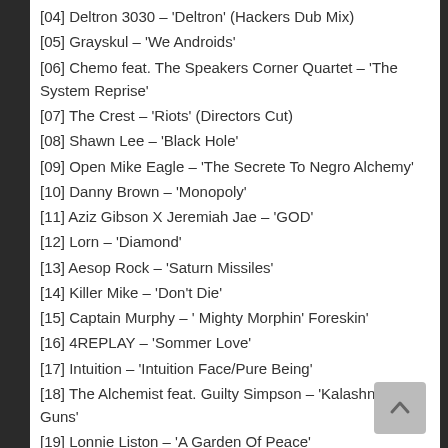[04] Deltron 3030 – 'Deltron' (Hackers Dub Mix)
[05] Grayskul – 'We Androids'
[06] Chemo feat. The Speakers Corner Quartet – 'The System Reprise'
[07] The Crest – 'Riots' (Directors Cut)
[08] Shawn Lee – 'Black Hole'
[09] Open Mike Eagle – 'The Secrete To Negro Alchemy'
[10] Danny Brown – 'Monopoly'
[11] Aziz Gibson X Jeremiah Jae – 'GOD'
[12] Lorn – 'Diamond'
[13] Aesop Rock – 'Saturn Missiles'
[14] Killer Mike – 'Don't Die'
[15] Captain Murphy – ' Mighty Morphin' Foreskin'
[16] 4REPLAY – 'Sommer Love'
[17] Intuition – 'Intuition Face/Pure Being'
[18] The Alchemist feat. Guilty Simpson – 'Kalashnikov Guns'
[19] Lonnie Liston – 'A Garden Of Peace'
[20] Monophonics – 'They Don't Understand'